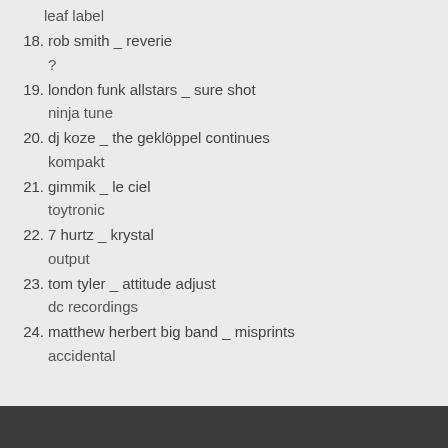leaf label
18. rob smith _ reverie
?
19. london funk allstars _ sure shot
ninja tune
20. dj koze _ the geklöppel continues
kompakt
21. gimmik _ le ciel
toytronic
22. 7 hurtz _ krystal
output
23. tom tyler _ attitude adjust
dc recordings
24. matthew herbert big band _ misprints
accidental